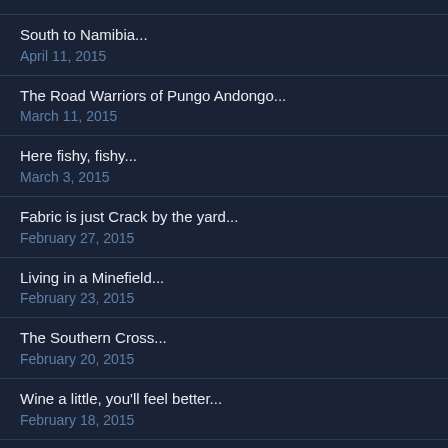South to Namibia...
April 11, 2015
The Road Warriors of Pungo Andongo...
March 11, 2015
Here fishy, fishy...
March 3, 2015
Fabric is just Crack by the yard...
February 27, 2015
Living in a Minefield...
February 23, 2015
The Southern Cross...
February 20, 2015
Wine a little, you'll feel better...
February 18, 2015
Oh, When the Shark Bites...
February 16, 2015